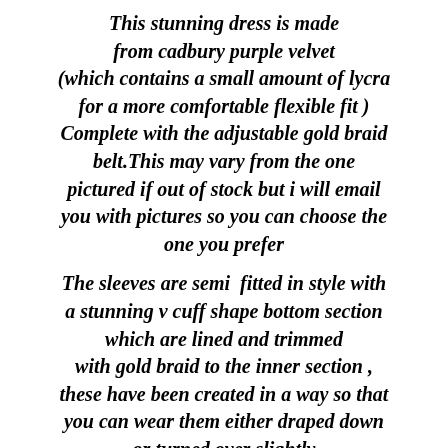This stunning dress is made from cadbury purple velvet (which contains a small amount of lycra for a more comfortable flexible fit ) Complete with the adjustable gold braid belt.This may vary from the one pictured if out of stock but i will email you with pictures so you can choose the one you prefer
The sleeves are semi  fitted in style with a stunning v cuff shape bottom section which are lined and trimmed with gold braid to the inner section , these have been created in a way so that you can wear them either draped down or turned over slightly